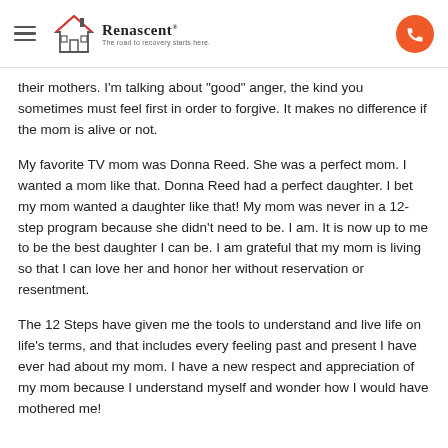Renascent — The road to recovery starts here
their mothers. I'm talking about "good" anger, the kind you sometimes must feel first in order to forgive. It makes no difference if the mom is alive or not.
My favorite TV mom was Donna Reed. She was a perfect mom. I wanted a mom like that. Donna Reed had a perfect daughter. I bet my mom wanted a daughter like that! My mom was never in a 12-step program because she didn't need to be. I am. It is now up to me to be the best daughter I can be. I am grateful that my mom is living so that I can love her and honor her without reservation or resentment.
The 12 Steps have given me the tools to understand and live life on life's terms, and that includes every feeling past and present I have ever had about my mom. I have a new respect and appreciation of my mom because I understand myself and wonder how I would have mothered me!